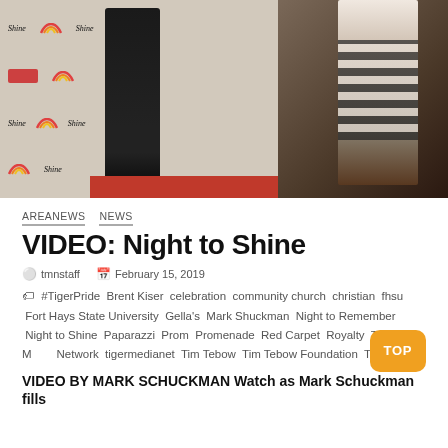[Figure (photo): Event photo showing a man in a dark suit standing in front of a 'Night to Shine' step-and-repeat banner backdrop, with a woman photographing someone on the right side, on a red carpet.]
AREANEWS  NEWS
VIDEO: Night to Shine
tmnstaff   February 15, 2019
#TigerPride  Brent Kiser  celebration  community  church  christian  fhsu  Fort Hays State University  Gella's  Mark Shuckman  Night to Remember  Night to Shine  Paparazzi  Prom  Promenade  Red Carpet  Royalty  Tiger Media Network  tigermedianet  Tim Tebow  Tim Tebow Foundation  TMN
VIDEO BY MARK SCHUCKMAN Watch as Mark Schuckman fills